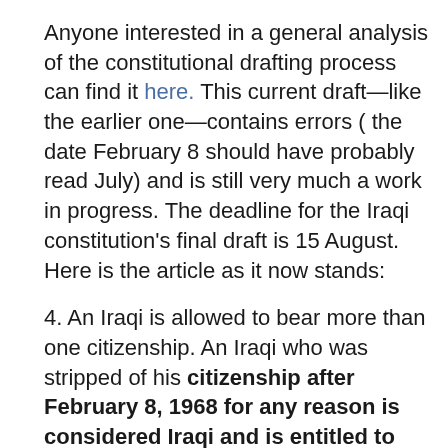Anyone interested in a general analysis of the constitutional drafting process can find it here. This current draft—like the earlier one—contains errors ( the date February 8 should have probably read July) and is still very much a work in progress. The deadline for the Iraqi constitution's final draft is 15 August. Here is the article as it now stands:
4. An Iraqi is allowed to bear more than one citizenship. An Iraqi who was stripped of his citizenship after February 8, 1968 for any reason is considered Iraqi and is entitled to regain [his citizenship].